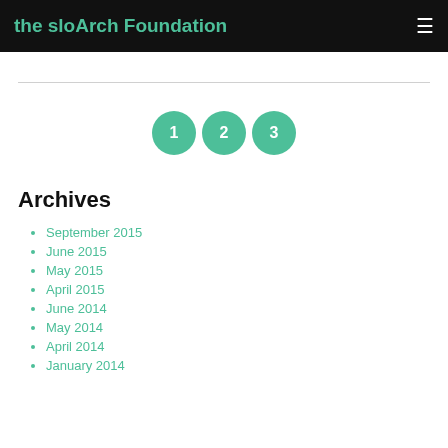the sloArch Foundation
1 2 3
Archives
September 2015
June 2015
May 2015
April 2015
June 2014
May 2014
April 2014
January 2014